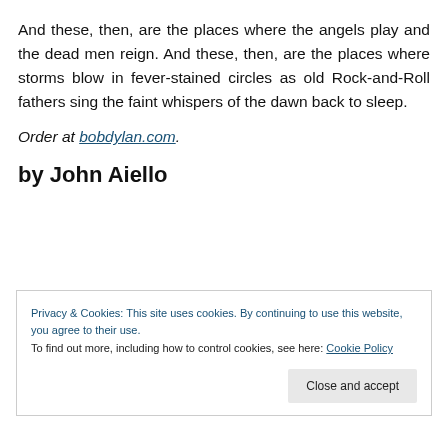And these, then, are the places where the angels play and the dead men reign. And these, then, are the places where storms blow in fever-stained circles as old Rock-and-Roll fathers sing the faint whispers of the dawn back to sleep.
Order at bobdylan.com.
by John Aiello
Privacy & Cookies: This site uses cookies. By continuing to use this website, you agree to their use. To find out more, including how to control cookies, see here: Cookie Policy